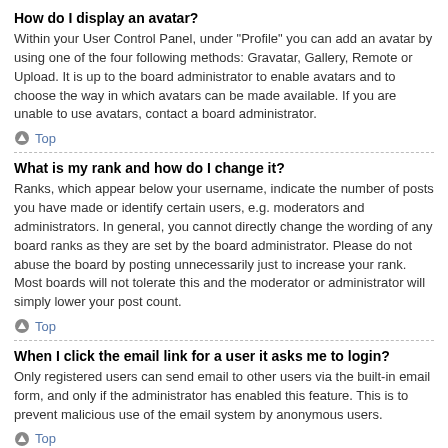How do I display an avatar?
Within your User Control Panel, under "Profile" you can add an avatar by using one of the four following methods: Gravatar, Gallery, Remote or Upload. It is up to the board administrator to enable avatars and to choose the way in which avatars can be made available. If you are unable to use avatars, contact a board administrator.
⬆ Top
What is my rank and how do I change it?
Ranks, which appear below your username, indicate the number of posts you have made or identify certain users, e.g. moderators and administrators. In general, you cannot directly change the wording of any board ranks as they are set by the board administrator. Please do not abuse the board by posting unnecessarily just to increase your rank. Most boards will not tolerate this and the moderator or administrator will simply lower your post count.
⬆ Top
When I click the email link for a user it asks me to login?
Only registered users can send email to other users via the built-in email form, and only if the administrator has enabled this feature. This is to prevent malicious use of the email system by anonymous users.
⬆ Top